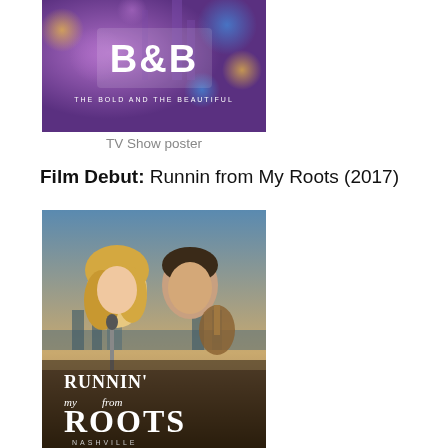[Figure (photo): TV show poster for 'The Bold and the Beautiful' showing B&B logo on a purple/blue bokeh background]
TV Show poster
Film Debut: Runnin from My Roots (2017)
[Figure (photo): Movie poster for 'Runnin' from My Roots' (2017) showing a blonde woman at a microphone and a man with a guitar, with Nashville city background]